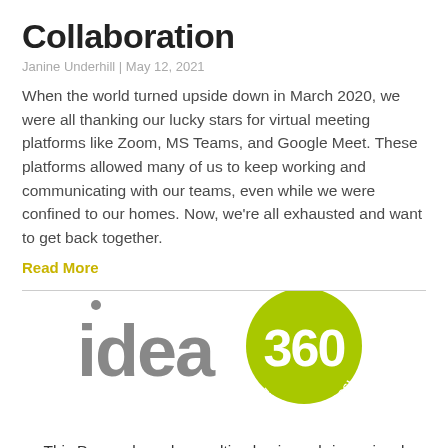Collaboration
Janine Underhill | May 12, 2021
When the world turned upside down in March 2020, we were all thanking our lucky stars for virtual meeting platforms like Zoom, MS Teams, and Google Meet. These platforms allowed many of us to keep working and communicating with our teams, even while we were confined to our homes. Now, we’re all exhausted and want to get back together.
Read More
[Figure (logo): idea360 logo — the word 'idea' in grey followed by '360' inside a yellow-green circle, with the tagline 'THE ART OF POSSIBILITY' curved around the bottom of the circle]
This Denver-based consulting business brings visual learning and the facilitated process together to activate